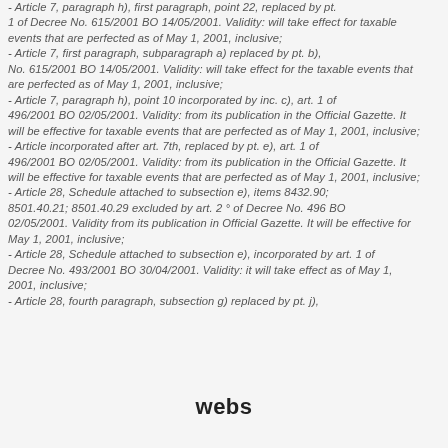- Article 7, paragraph h), first paragraph, point 22, replaced by pt. 1 of Decree No. 615/2001 BO 14/05/2001. Validity: will take effect for taxable events that are perfected as of May 1, 2001, inclusive; - Article 7, first paragraph, subparagraph a) replaced by pt. b), No. 615/2001 BO 14/05/2001. Validity: will take effect for the taxable events that are perfected as of May 1, 2001, inclusive; - Article 7, paragraph h), point 10 incorporated by inc. c), art. 1 496/2001 BO 02/05/2001. Validity: from its publication in the Official Gazette. It will be effective for taxable events that are perfected as of May 1, 2001, inclusive; - Article incorporated after art. 7th, replaced by pt. e), art. 1 of 496/2001 BO 02/05/2001. Validity: from its publication in the Official Gazette. It will be effective for taxable events that are perfected as of May 1, 2001, inclusive; - Article 28, Schedule attached to subsection e), items 8432.90; 8501.40.21; 8501.40.29 excluded by art. 2 ° of Decree No. 496 02/05/2001. Validity from its publication in Official Gazette. It will be effective for taxable events that are perfected as of May 1, 2001, inclusive; - Article 28, Schedule attached to subsection e), incorporated by Decree No. 493/2001 BO 30/04/2001. Validity: it will take effect as of May 1, 2001, inclusive; - Article 28, fourth paragraph, subsection g) replaced by pt. j),
webs